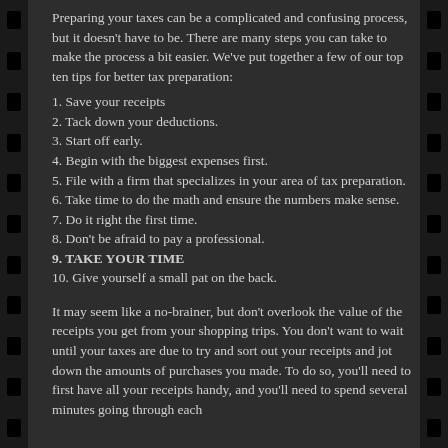Preparing your taxes can be a complicated and confusing process, but it doesn't have to be. There are many steps you can take to make the process a bit easier. We've put together a few of our top ten tips for better tax preparation:
1. Save your receipts
2. Tack down your deductions.
3. Start off early.
4. Begin with the biggest expenses first.
5. File with a firm that specializes in your area of tax preparation.
6. Take time to do the math and ensure the numbers make sense.
7. Do it right the first time.
8. Don't be afraid to pay a professional.
9. TAKE YOUR TIME
10. Give yourself a small pat on the back.
It may seem like a no-brainer, but don't overlook the value of the receipts you get from your shopping trips. You don't want to wait until your taxes are due to try and sort out your receipts and jot down the amounts of purchases you made. To do so, you'll need to first have all your receipts handy, and you'll need to spend several minutes going through each